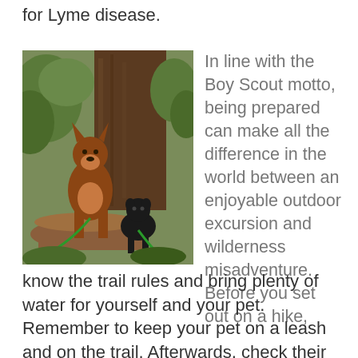for Lyme disease.
[Figure (photo): Two dogs sitting outdoors near a large tree trunk surrounded by greenery. A brown and tan Doberman puppy on a log and a small black dog beside it, both on green leashes.]
In line with the Boy Scout motto, being prepared can make all the difference in the world between an enjoyable outdoor excursion and wilderness misadventure. Before you set out on a hike, know the trail rules and bring plenty of water for yourself and your pet. Remember to keep your pet on a leash and on the trail. Afterwards, check their fur and feet closely after hikes. Hiking is a great activity that people and pets can enjoy together. Hopefully these tips will help you and your pet stay safe while enjoying